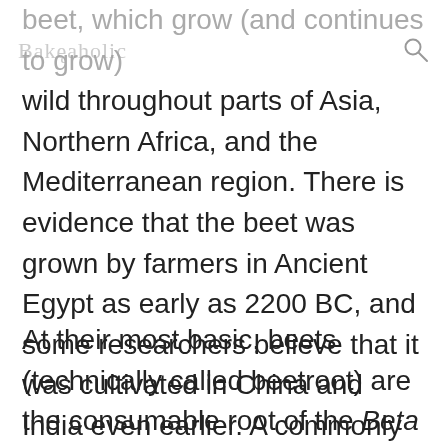beet, which grow (and continues to grow) wild throughout parts of Asia, Northern Africa, and the Mediterranean region. There is evidence that the beet was grown by farmers in Ancient Egypt as early as 2200 BC, and some researchers believe that it was cultivated in China and India even earlier. A commonly grown vegetable throughout Europe by Medieval times, the beet was introduced to the New World by the early European settlers.
At their most basic, beets (technically called beetroot) are the consumable root of the Beta vulgaris plant in the Amaranthaceae family of edible plants. A very hardy and adaptable